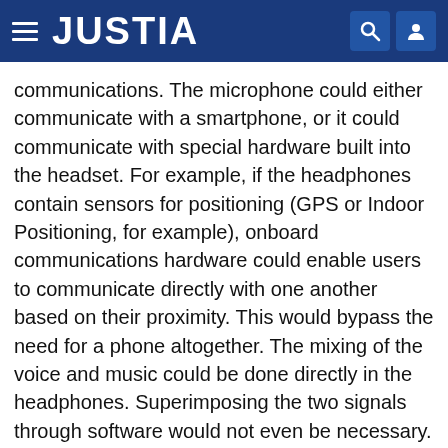JUSTIA
communications. The microphone could either communicate with a smartphone, or it could communicate with special hardware built into the headset. For example, if the headphones contain sensors for positioning (GPS or Indoor Positioning, for example), onboard communications hardware could enable users to communicate directly with one another based on their proximity. This would bypass the need for a phone altogether. The mixing of the voice and music could be done directly in the headphones. Superimposing the two signals through software would not even be necessary. For example, different leads could be soldered directly to the communications hardware and the headset speakers, such that the headset speakers would be receiving two (or more) signals: one from a cable connected to the FM transmitted audio, and one from a sound card that